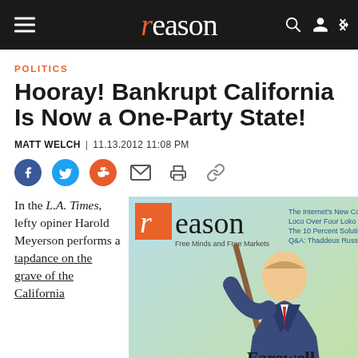reason
POLITICS
Hooray! Bankrupt California Is Now a One-Party State!
MATT WELCH | 11.13.2012 11:08 PM
[Figure (other): Social sharing icons: Facebook, Twitter, Reddit, email, print, link]
In the L.A. Times, lefty opiner Harold Meyerson performs a tapdance on the grave of the California
[Figure (photo): Reason magazine cover featuring illustration of a man wielding a broom, with text 'Farewell, My Lovely' and 'How public', and sidebar text 'The Internet's New Cop Loco Over Four Loko The 10 Percent Solution Q&A: Thaddeus Russell'. The cover shows the reason logo with 'Free Minds and Free Markets' tagline.]